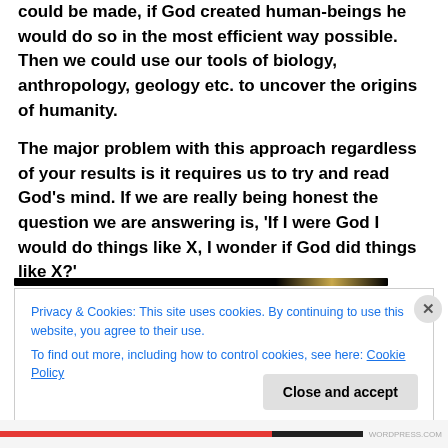could be made, if God created human-beings he would do so in the most efficient way possible. Then we could use our tools of biology, anthropology, geology etc. to uncover the origins of humanity.
The major problem with this approach regardless of your results is it requires us to try and read God's mind. If we are really being honest the question we are answering is, 'If I were God I would do things like X, I wonder if God did things like X?'
Privacy & Cookies: This site uses cookies. By continuing to use this website, you agree to their use.
To find out more, including how to control cookies, see here: Cookie Policy